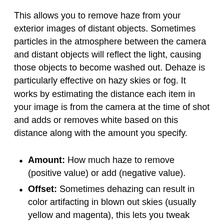This allows you to remove haze from your exterior images of distant objects. Sometimes particles in the atmosphere between the camera and distant objects will reflect the light, causing those objects to become washed out. Dehaze is particularly effective on hazy skies or fog. It works by estimating the distance each item in your image is from the camera at the time of shot and adds or removes white based on this distance along with the amount you specify.
Amount: How much haze to remove (positive value) or add (negative value).
Offset: Sometimes dehazing can result in color artifacting in blown out skies (usually yellow and magenta), this lets you tweak those to make them white again.
Here is an example of this effect in action. On the left side is the original image with quite a lot of haze. On the right side is the image after being put through the dehaze effect: